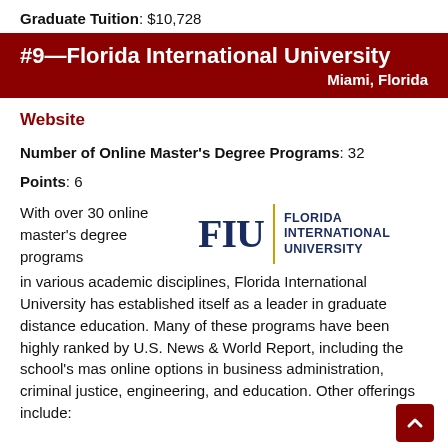Graduate Tuition: $10,728
#9—Florida International University
Miami, Florida
Website
Number of Online Master's Degree Programs: 32
Points: 6
With over 30 online master's degree programs
[Figure (logo): FIU — Florida International University logo with dark blue FIU letters, gold vertical divider, and FLORIDA INTERNATIONAL UNIVERSITY text]
in various academic disciplines, Florida International University has established itself as a leader in graduate distance education. Many of these programs have been highly ranked by U.S. News & World Report, including the school's mas online options in business administration, criminal justice, engineering, and education. Other offerings include: